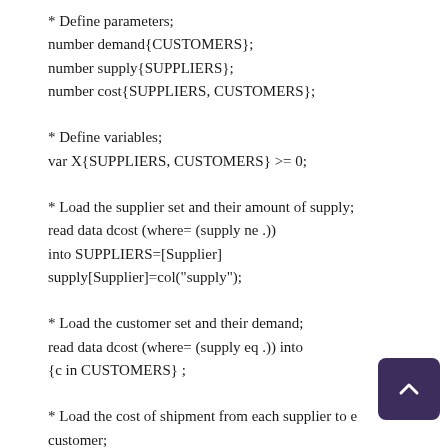* Define parameters;
number demand{CUSTOMERS};
number supply{SUPPLIERS};
number cost{SUPPLIERS, CUSTOMERS};

* Define variables;
var X{SUPPLIERS, CUSTOMERS} >= 0;

* Load the supplier set and their amount of supply;
read data dcost (where= (supply ne .))
into SUPPLIERS=[Supplier]
supply[Supplier]=col("supply");

* Load the customer set and their demand;
read data dcost (where= (supply eq .)) into
{c in CUSTOMERS} ;

* Load the cost of shipment from each supplier to each customer;